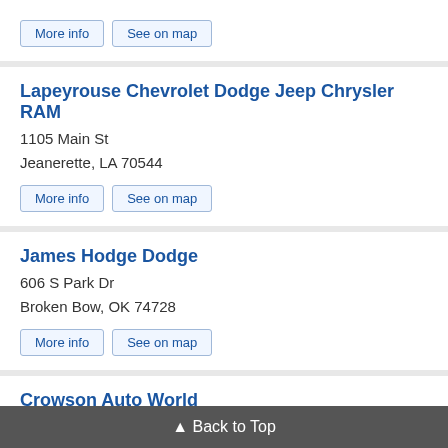Buttons: More info, See on map
Lapeyrouse Chevrolet Dodge Jeep Chrysler RAM
1105 Main St
Jeanerette, LA 70544
Buttons: More info, See on map
James Hodge Dodge
606 S Park Dr
Broken Bow, OK 74728
Buttons: More info, See on map
Crowson Auto World
541 MS-15
Louisville, MS 39339
Buttons: More info, See on map
▲ Back to Top